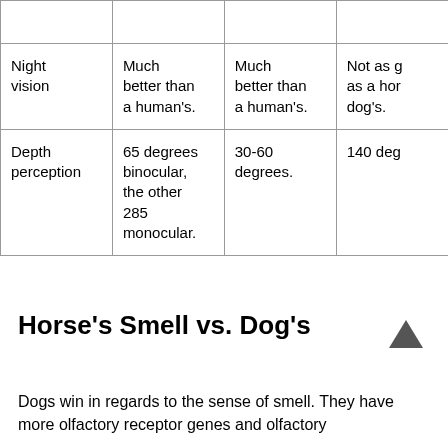|  | Dog | Cat | Horse |
| --- | --- | --- | --- |
| Night vision | Much better than a human's. | Much better than a human's. | Not as g as a hor dog's. |
| Depth perception | 65 degrees binocular, the other 285 monocular. | 30-60 degrees. | 140 deg |
Horse's Smell vs. Dog's
Dogs win in regards to the sense of smell. They have more olfactory receptor genes and olfactory